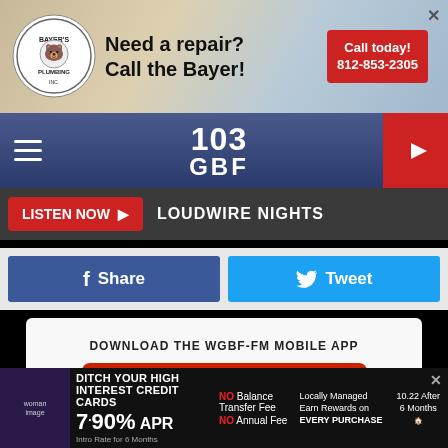[Figure (screenshot): Bayer's Plumbing advertisement banner: logo with bear mascot, plumbing fixture image, text 'Need a repair? Call the Bayer!', red button 'Call today! 812-853-2305']
[Figure (logo): 103 GBF radio station navigation bar with hamburger menu, 103 GBF logo, and red play button]
LISTEN NOW  LOUDWIRE NIGHTS
[Figure (screenshot): Facebook Share button (blue) and Twitter Tweet button (cyan)]
DOWNLOAD THE WGBF-FM MOBILE APP
GET OUR FREE MOBILE APP
Also listen on:  amazon alexa
[Figure (screenshot): Diamond Valley Federal Credit Union advertisement: 'DITCH YOUR HIGH INTEREST CREDIT CARDS' 7.90% APR, NO Balance Transfer Fee, NO Annual Fee, Locally Managed, Earn Rewards on EVERY PURCHASE, 10.22 After 6 Months]